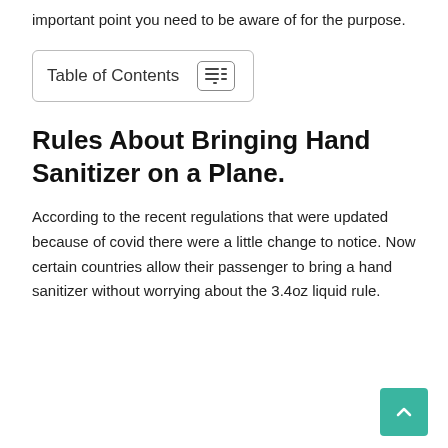important point you need to be aware of for the purpose.
Table of Contents
Rules About Bringing Hand Sanitizer on a Plane.
According to the recent regulations that were updated because of covid there were a little change to notice. Now certain countries allow their passenger to bring a hand sanitizer without worrying about the 3.4oz liquid rule.